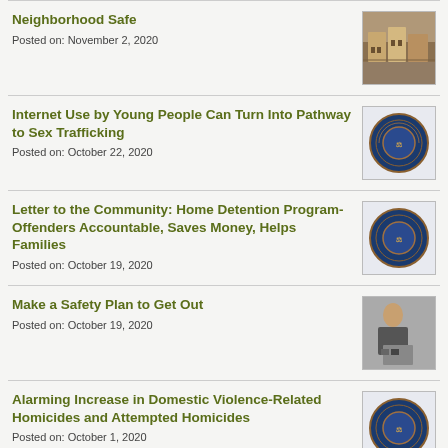Neighborhood Safe
Posted on: November 2, 2020
Internet Use by Young People Can Turn Into Pathway to Sex Trafficking
Posted on: October 22, 2020
Letter to the Community: Home Detention Program-Offenders Accountable, Saves Money, Helps Families
Posted on: October 19, 2020
Make a Safety Plan to Get Out
Posted on: October 19, 2020
Alarming Increase in Domestic Violence-Related Homicides and Attempted Homicides
Posted on: October 1, 2020